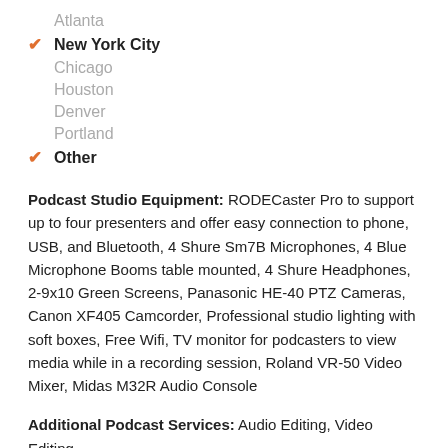Atlanta
✔ New York City
Chicago
Houston
Denver
Portland
✔ Other
Podcast Studio Equipment: RODECaster Pro to support up to four presenters and offer easy connection to phone, USB, and Bluetooth, 4 Shure Sm7B Microphones, 4 Blue Microphone Booms table mounted, 4 Shure Headphones, 2-9x10 Green Screens, Panasonic HE-40 PTZ Cameras, Canon XF405 Camcorder, Professional studio lighting with soft boxes, Free Wifi, TV monitor for podcasters to view media while in a recording session, Roland VR-50 Video Mixer, Midas M32R Audio Console
Additional Podcast Services: Audio Editing, Video Editing,